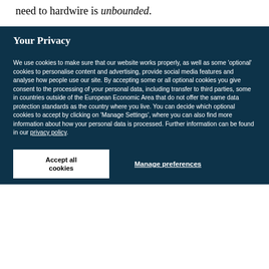ations), the number of possible transcripts we may need to hardwire is unbounded.
Your Privacy
We use cookies to make sure that our website works properly, as well as some 'optional' cookies to personalise content and advertising, provide social media features and analyse how people use our site. By accepting some or all optional cookies you give consent to the processing of your personal data, including transfer to third parties, some in countries outside of the European Economic Area that do not offer the same data protection standards as the country where you live. You can decide which optional cookies to accept by clicking on 'Manage Settings', where you can also find more information about how your personal data is processed. Further information can be found in our privacy policy.
Accept all cookies
Manage preferences